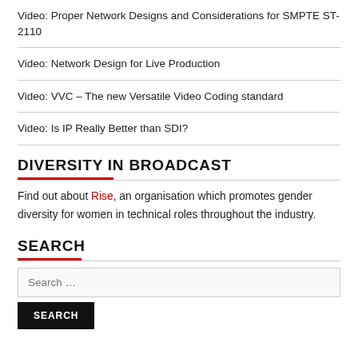Video: Proper Network Designs and Considerations for SMPTE ST-2110
Video: Network Design for Live Production
Video: VVC – The new Versatile Video Coding standard
Video: Is IP Really Better than SDI?
DIVERSITY IN BROADCAST
Find out about Rise, an organisation which promotes gender diversity for women in technical roles throughout the industry.
SEARCH
Search …